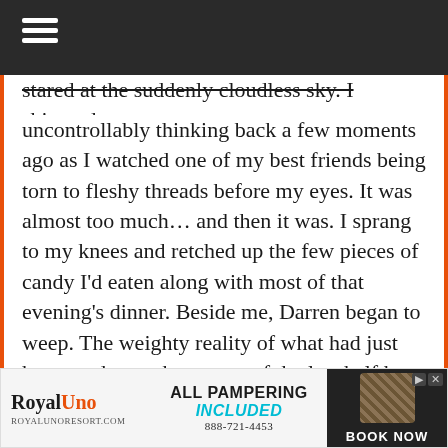stared at the suddenly cloudless sky. I shivered uncontrollably thinking back a few moments ago as I watched one of my best friends being torn to fleshy threads before my eyes. It was almost too much… and then it was. I sprang to my knees and retched up the few pieces of candy I'd eaten along with most of that evening's dinner. Beside me, Darren began to weep. The weighty reality of what had just happened over the course of the last half hour hit us like a train wreck. How were we going to explain this? How were we going to tell our parents what had just happened? How were we going to tell Eric's parents? I had no idea, as those thoughts stormed through my head. My mom and dad were litera…waiting on ou…
[Figure (other): Advertisement banner for RoyalUno resort. Shows RoyalUno logo, text 'ALL PAMPERING INCLUDED', phone number 888-721-4453, royalunoresort.com website, and 'BOOK NOW' button with decorative pattern image.]